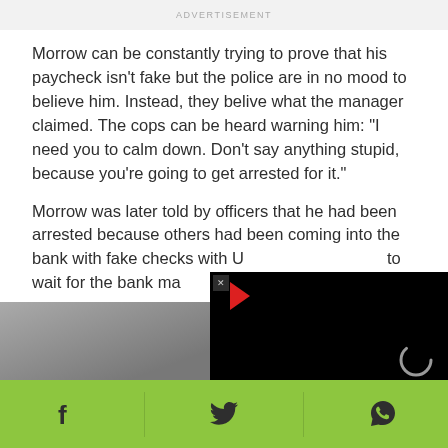ADVERTISEMENT
Morrow can be constantly trying to prove that his paycheck isn't fake but the police are in no mood to believe him. Instead, they belive what the manager claimed. The cops can be heard warning him: "I need you to calm down. Don't say anything stupid, because you're going to get arrested for it."
Morrow was later told by officers that he had been arrested because others had been coming into the bank with fake checks with U[...] to wait for the bank ma[...]
[Figure (screenshot): Partially visible video player overlay on the right side, black background with a red play icon (triangle) in the top-left area and a circular spinner/loading indicator in the center-bottom area. A close button (x) is visible. Behind it on the left is a partially visible grey image.]
Social sharing bar with Facebook, Twitter, WhatsApp icons on green background